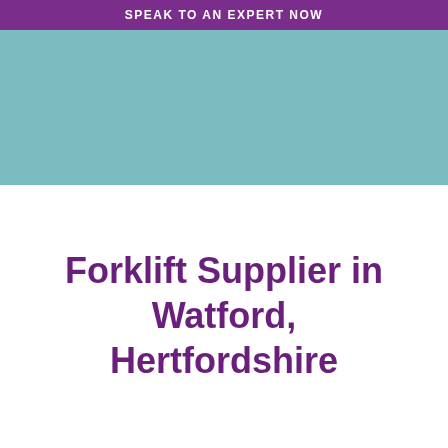SPEAK TO AN EXPERT NOW
[Figure (other): Teal/turquoise decorative banner block]
Forklift Supplier in Watford, Hertfordshire